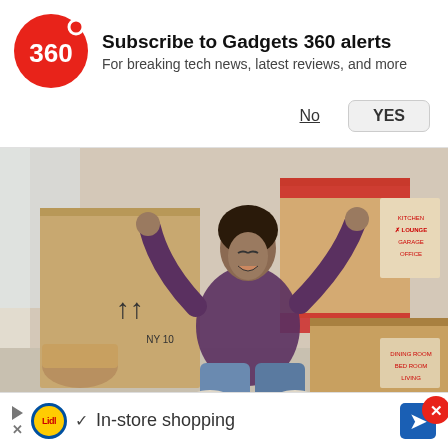[Figure (screenshot): Gadgets 360 notification subscription prompt with red circular logo showing '360', bold title 'Subscribe to Gadgets 360 alerts', subtitle 'For breaking tech news, latest reviews, and more', and two buttons: 'No' (underlined) and 'YES' (in a grey rounded box)]
[Figure (photo): Woman with arms raised joyfully sitting cross-legged on floor surrounded by cardboard moving boxes]
Our Mortgage Map! Don't buy or refi without it!
SeeMyOptions, Inc. | Sponsored
[Figure (screenshot): Small video overlay thumbnail showing a dark smartphone (Honor/Huawei style) with a red play button, and a red X close button in top right corner]
[Figure (screenshot): Bottom banner advertisement with Lidl logo, play/X icons, checkmark, 'In-store shopping' text, and blue arrow button]